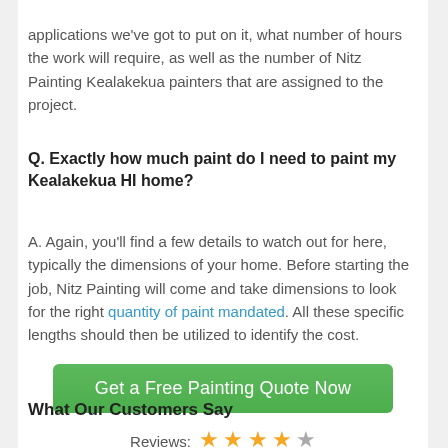applications we've got to put on it, what number of hours the work will require, as well as the number of Nitz Painting Kealakekua painters that are assigned to the project.
Q. Exactly how much paint do I need to paint my Kealakekua HI home?
A. Again, you'll find a few details to watch out for here, typically the dimensions of your home. Before starting the job, Nitz Painting will come and take dimensions to look for the right quantity of paint mandated. All these specific lengths should then be utilized to identify the cost.
Get a Free Painting Quote Now
What Our Customers Say
Reviews: ★★★★☆
4.31/5 (86%) 164 votes